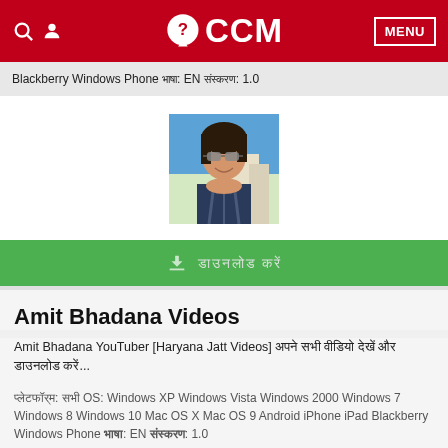CCM
Blackberry Windows Phone भाषा: EN संस्करण: 1.0
[Figure (photo): Profile photo of a young man with sunglasses, wearing a plaid shirt, smiling outdoors]
डाउनलोड करें
Amit Bhadana Videos
Amit Bhadana YouTuber [Haryana Jatt Videos] अपने सभी वीडियो देखें और डाउनलोड करें...
प्लेटफ़ॉर्म: सभी OS: Windows XP Windows Vista Windows 2000 Windows 7 Windows 8 Windows 10 Mac OS X Mac OS 9 Android iPhone iPad Blackberry Windows Phone भाषा: EN संस्करण: 1.0